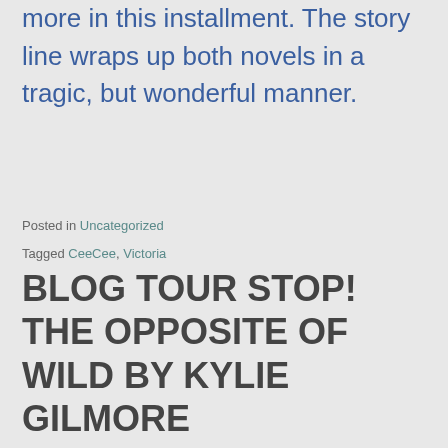more in this installment.  The story line wraps up both novels in a tragic, but wonderful manner.
Posted in Uncategorized
Tagged CeeCee, Victoria
BLOG TOUR STOP! THE OPPOSITE OF WILD BY KYLIE GILMORE